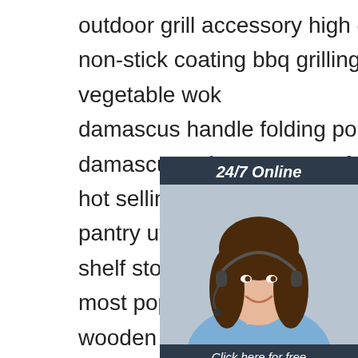outdoor grill accessory high quality rounded
non-stick coating bbq grilling basket
vegetable wok
damascus handle folding pocket kni…
damascus twist pattern surface leath…
hot selling multifunction kitchen orga…
pantry utensils storage rack tabletop…
shelf storage holders racks
most popular garden shed prefab bu…
wooden plastic wood cabin storage outdoor
office
prime quality 10mm thick carbon steel pla…
creation 25 50ml custom stainless steel
[Figure (illustration): 24/7 Online chat widget with woman wearing headset, dark background, orange QUOTATION button]
[Figure (logo): TOP logo with orange dots arranged in triangle above red-orange TOP text]